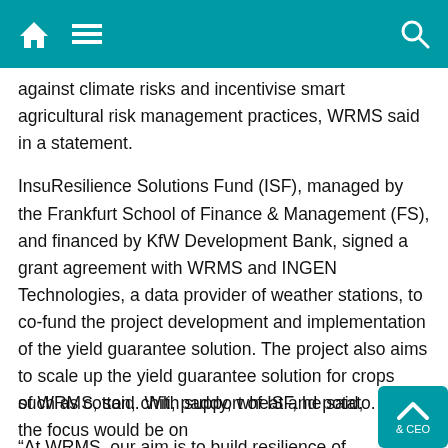[Home] [Menu] [Search]
against climate risks and incentivise smart agricultural risk management practices, WRMS said in a statement.
InsuResilience Solutions Fund (ISF), managed by the Frankfurt School of Finance & Management (FS), and financed by KfW Development Bank, signed a grant agreement with WRMS and INGEN Technologies, a data provider of weather stations, to co-fund the project development and implementation of the yield guarantee solution. The project also aims to scale up the yield guarantee solution for crops such as cotton, chili, paddy, wheat and potato.
“At WRMS, our aim is to build resilience of smallholder farmers by giving them equal opportunities to thrive. With this new association with InsuResilience Solutions Fund, we are now ready to further ramp up our SecuFarm services to the next level and support the smallholders to our maximum extent,” Anuj Kumbhat, Founder & CEO of WRMS, said. With support of ISF, he said, the focus would be on